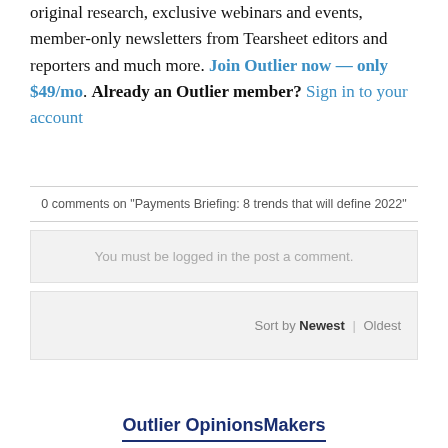original research, exclusive webinars and events, member-only newsletters from Tearsheet editors and reporters and much more. Join Outlier now — only $49/mo. Already an Outlier member? Sign in to your account
0 comments on "Payments Briefing: 8 trends that will define 2022"
You must be logged in the post a comment.
Sort by Newest | Oldest
Outlier OpinionsMakers